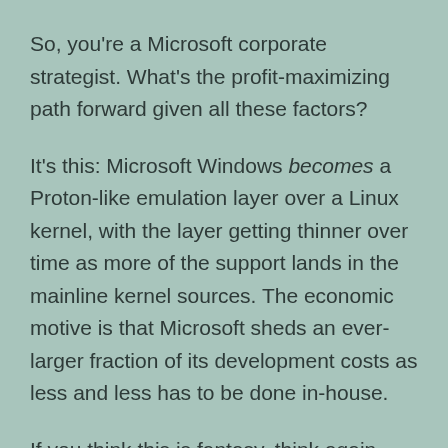So, you're a Microsoft corporate strategist. What's the profit-maximizing path forward given all these factors?
It's this: Microsoft Windows becomes a Proton-like emulation layer over a Linux kernel, with the layer getting thinner over time as more of the support lands in the mainline kernel sources. The economic motive is that Microsoft sheds an ever-larger fraction of its development costs as less and less has to be done in-house.
If you think this is fantasy, think again. The